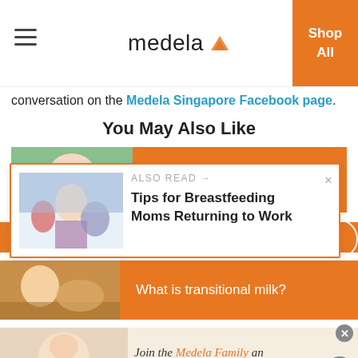medela
conversation on the Medela Singapore Facebook page.
You May Also Like
[Figure (photo): Orange banner card with photo of mother and child: 'A research-based company']
[Figure (photo): Also Read popup overlay with image of woman in office: 'Tips for Breastfeeding Moms Returning to Work']
[Figure (photo): Orange banner card with photo: 'What is transitional milk?']
[Figure (photo): Bottom banner with baby photo and 'Join the Medela Family and exclusive offers' text]